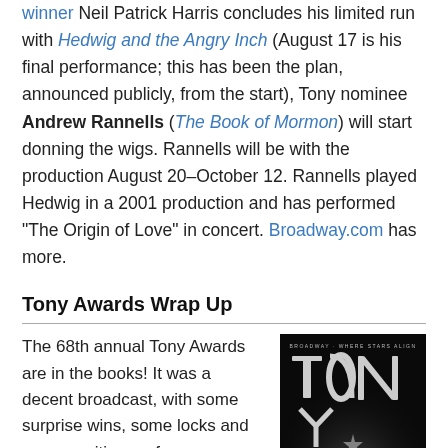winner Neil Patrick Harris concludes his limited run with Hedwig and the Angry Inch (August 17 is his final performance; this has been the plan, announced publicly, from the start), Tony nominee Andrew Rannells (The Book of Mormon) will start donning the wigs. Rannells will be with the production August 20–October 12. Rannells played Hedwig in a 2001 production and has performed "The Origin of Love" in concert. Broadway.com has more.
Tony Awards Wrap Up
The 68th annual Tony Awards are in the books! It was a decent broadcast, with some surprise wins, some locks and some exciting performances. Ahead is a roundup of all things Tony Awards, but scroll down for new about the 2015 Tony Awards.
[Figure (photo): Tony Awards promotional poster with metallic TONY text on dark background, Broadway Where Stars Align tagline, hosted by Hugh Jackman, Lifetime Sunday June 8 2014]
More is a Culmination of the Best Broadway